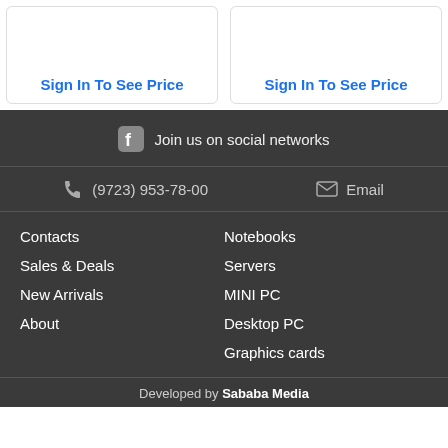Sign In To See Price
Sign In To See Price
Join us on social networks
(9723) 953-78-00
Email
Contacts
Sales & Deals
New Arrivals
About
Notebooks
Servers
MINI PC
Desktop PC
Graphics cards
Developed by Sababa Media